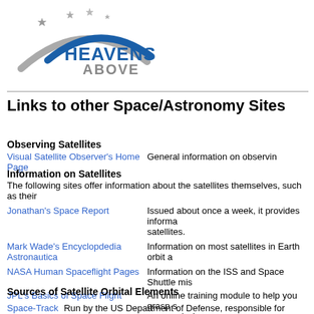[Figure (logo): Heavens-Above logo with arc and stars]
Links to other Space/Astronomy Sites
Observing Satellites
Visual Satellite Observer's Home Page — General information on observing
Information on Satellites
The following sites offer information about the satellites themselves, such as their
Jonathan's Space Report — Issued about once a week, it provides information... satellites.
Mark Wade's Encyclopdedia Astronautica — Information on most satellites in Earth orbit a...
NASA Human Spaceflight Pages — Information on the ISS and Space Shuttle mi...
JPL's Basics of Space Flight — An online training module to help you grasp s... space missions.
Sources of Satellite Orbital Elements
Space-Track — Run by the US Department of Defense, responsible for making u...